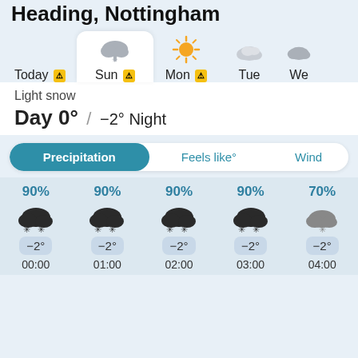Heading, Nottingham
[Figure (infographic): Weather forecast day tab strip showing Today (warning), Sun (warning, selected, light snow cloud with snowflake), Mon (warning, sun icon), Tue (cloud icon), Wed (cloud icon, partial)]
Light snow
Day 0° / −2° Night
[Figure (infographic): Tab buttons: Precipitation (active/teal), Feels like°, Wind]
[Figure (infographic): Hourly precipitation forecast grid: 00:00 90%, 01:00 90%, 02:00 90%, 03:00 90%, 04:00 70%; snow icons; temperatures all −2°]